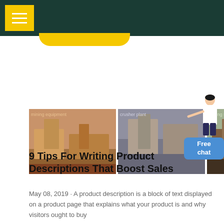[Figure (photo): Three photos of mining/crushing machines and industrial equipment at open-air sites]
[Figure (illustration): Free chat widget with a woman figure pointing and a blue button labeled Free chat]
9 Tips For Writing Product Descriptions That Boost Sales
May 08, 2019 · A product description is a block of text displayed on a product page that explains what your product is and why visitors ought to buy